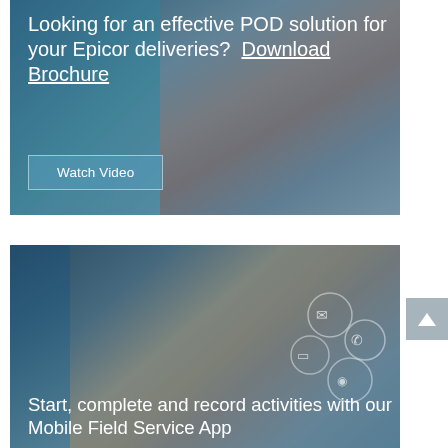[Figure (photo): Top banner image showing a person working with a tablet/device, overlaid with blue tones and text about POD solution for Epicor deliveries with a Download Brochure link and Watch Video button]
[Figure (photo): Bottom banner image showing a hand touching a laptop keyboard with digital mobile icons overlaid, blue tones, with text about Mobile Field Service App]